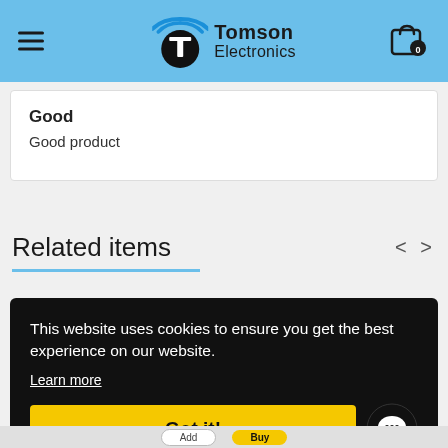Tomson Electronics
Good
Good product
Related items
This website uses cookies to ensure you get the best experience on our website.
Learn more
Got it!